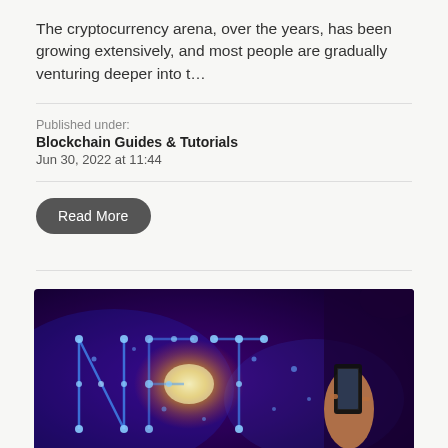The cryptocurrency arena, over the years, has been growing extensively, and most people are gradually venturing deeper into t…
Published under:
Blockchain Guides & Tutorials
Jun 30, 2022 at 11:44
Read More
[Figure (photo): NFT glowing letters made of connected dots/nodes in blue and purple lighting, with a person holding a smartphone on the right side]